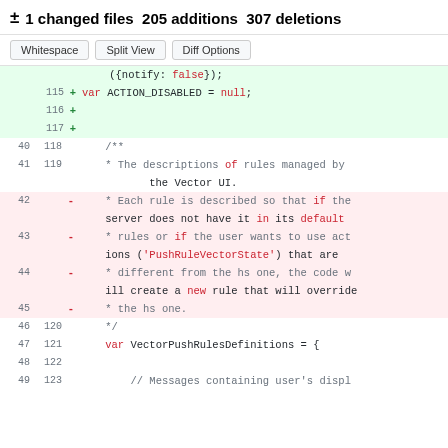± 1 changed files 205 additions 307 deletions
[Figure (screenshot): Code diff view with buttons Whitespace, Split View, Diff Options and diff lines showing added/removed JavaScript code]
({notify: false});
115 + var ACTION_DISABLED = null;
116 +
117 +
40 118     /**
41 119     * The descriptions of rules managed by the Vector UI.
42     -   * Each rule is described so that if the server does not have it in its default
43     -   * rules or if the user wants to use actions ('PushRuleVectorState') that are
44     -   * different from the hs one, the code will create a new rule that will override
45     -   * the hs one.
46 120     */
47 121     var VectorPushRulesDefinitions = {
48 122
49 123         // Messages containing user's displ